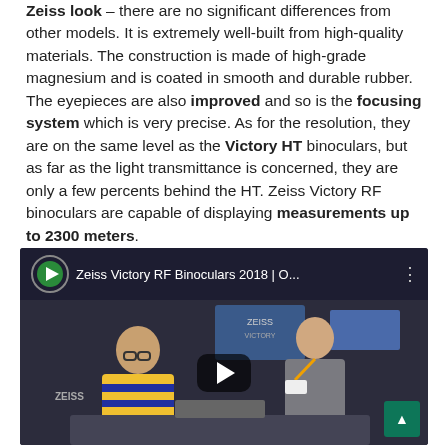Zeiss look – there are no significant differences from other models. It is extremely well-built from high-quality materials. The construction is made of high-grade magnesium and is coated in smooth and durable rubber. The eyepieces are also improved and so is the focusing system which is very precise. As for the resolution, they are on the same level as the Victory HT binoculars, but as far as the light transmittance is concerned, they are only a few percents behind the HT. Zeiss Victory RF binoculars are capable of displaying measurements up to 2300 meters.
[Figure (screenshot): Embedded YouTube video thumbnail showing 'Zeiss Victory RF Binoculars 2018 | O...' with two people at a trade show booth, a large play button in the center, and small play icon with title in the top bar.]